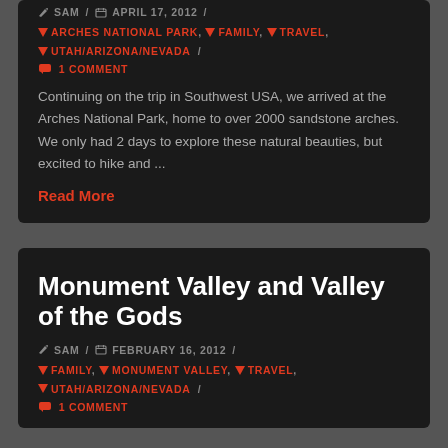SAM / APRIL 17, 2012 /
ARCHES NATIONAL PARK, FAMILY, TRAVEL, UTAH/ARIZONA/NEVADA /
1 COMMENT
Continuing on the trip in Southwest USA, we arrived at the Arches National Park, home to over 2000 sandstone arches. We only had 2 days to explore these natural beauties, but excited to hike and ...
Read More
Monument Valley and Valley of the Gods
SAM / FEBRUARY 16, 2012 /
FAMILY, MONUMENT VALLEY, TRAVEL, UTAH/ARIZONA/NEVADA /
1 COMMENT